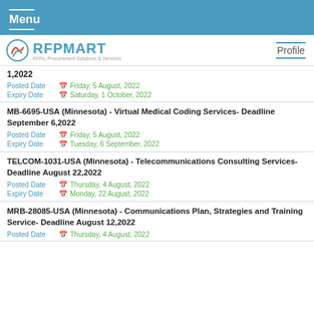Menu
[Figure (logo): RFPMART logo with tagline: RFPs, Procurement Solutions & Services]
1,2022
Posted Date  Friday, 5 August, 2022
Expiry Date  Saturday, 1 October, 2022
MB-6695-USA (Minnesota) - Virtual Medical Coding Services- Deadline September 6,2022
Posted Date  Friday, 5 August, 2022
Expiry Date  Tuesday, 6 September, 2022
TELCOM-1031-USA (Minnesota) - Telecommunications Consulting Services- Deadline August 22,2022
Posted Date  Thursday, 4 August, 2022
Expiry Date  Monday, 22 August, 2022
MRB-28085-USA (Minnesota) - Communications Plan, Strategies and Training Service- Deadline August 12,2022
Posted Date  Thursday, 4 August, 2022